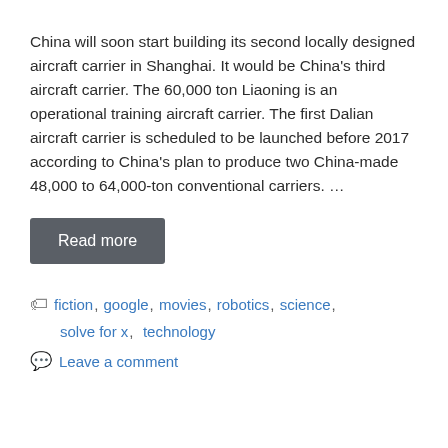China will soon start building its second locally designed aircraft carrier in Shanghai. It would be China's third aircraft carrier. The 60,000 ton Liaoning is an operational training aircraft carrier. The first Dalian aircraft carrier is scheduled to be launched before 2017 according to China's plan to produce two China-made 48,000 to 64,000-ton conventional carriers. ...
Read more
fiction, google, movies, robotics, science, solve for x, technology
Leave a comment